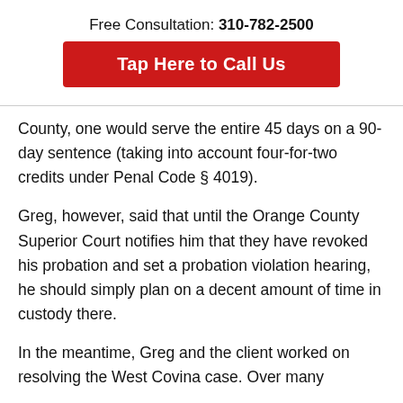Free Consultation: 310-782-2500
[Figure (other): Red call-to-action button reading 'Tap Here to Call Us']
County, one would serve the entire 45 days on a 90-day sentence (taking into account four-for-two credits under Penal Code § 4019).
Greg, however, said that until the Orange County Superior Court notifies him that they have revoked his probation and set a probation violation hearing, he should simply plan on a decent amount of time in custody there.
In the meantime, Greg and the client worked on resolving the West Covina case.  Over many